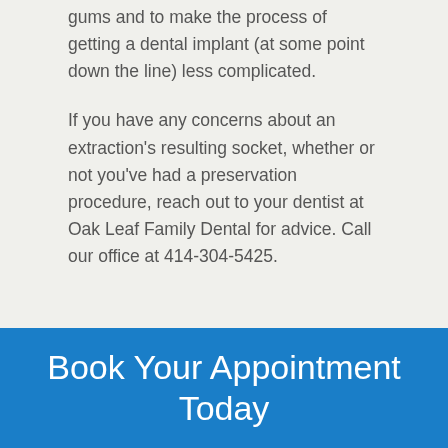gums and to make the process of getting a dental implant (at some point down the line) less complicated.
If you have any concerns about an extraction's resulting socket, whether or not you've had a preservation procedure, reach out to your dentist at Oak Leaf Family Dental for advice. Call our office at 414-304-5425.
Book Your Appointment Today